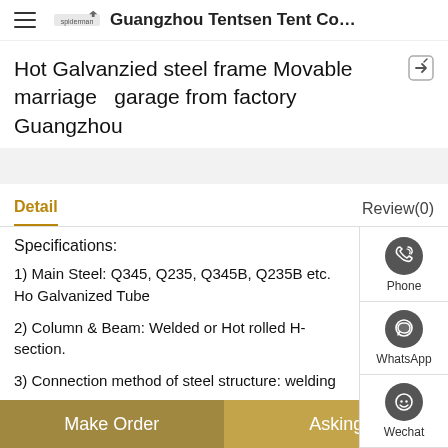Guangzhou Tentsen Tent Co...
Hot Galvanzied steel frame Movable marriage   garage from factory Guangzhou
Detail    Review(0)
Specifications:
1) Main Steel: Q345, Q235, Q345B, Q235B etc. Hot Galvanized Tube
2) Column & Beam: Welded or Hot rolled H-section.
3) Connection method of steel structure: welding
Make Order    Asking